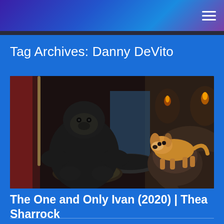Tag Archives: Danny DeVito
[Figure (photo): Scene from The One and Only Ivan (2020) showing a large gorilla sitting on a swing in a dimly lit indoor environment resembling a circus or zoo enclosure, with a golden dog visible on a rock to the right side.]
The One and Only Ivan (2020) | Thea Sharrock